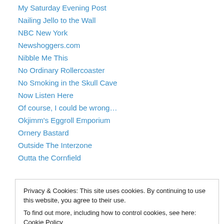My Saturday Evening Post
Nailing Jello to the Wall
NBC New York
Newshoggers.com
Nibble Me This
No Ordinary Rollercoaster
No Smoking in the Skull Cave
Now Listen Here
Of course, I could be wrong…
Okjimm's Eggroll Emporium
Ornery Bastard
Outside The Interzone
Outta the Cornfield
Privacy & Cookies: This site uses cookies. By continuing to use this website, you agree to their use.
To find out more, including how to control cookies, see here: Cookie Policy
Political Cat